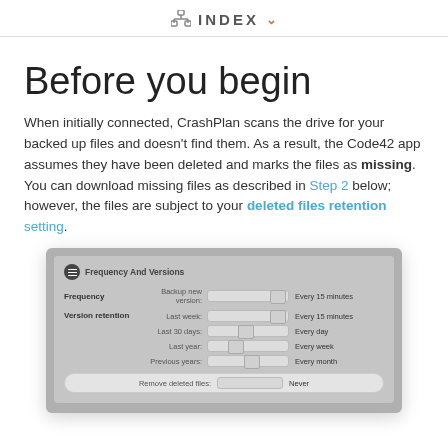INDEX
Before you begin
When initially connected, CrashPlan scans the drive for your backed up files and doesn't find them. As a result, the Code42 app assumes they have been deleted and marks the files as missing. You can download missing files as described in Step 2 below; however, the files are subject to your deleted files retention setting.
[Figure (screenshot): Screenshot of CrashPlan Frequency And Versions settings panel showing Frequency slider set to Every 15 minutes, Version retention settings for Last week (Every 15 minutes), Last 30 days (Every day), Last year (Every week), Previous years (Every month), and Remove deleted files set to Never.]